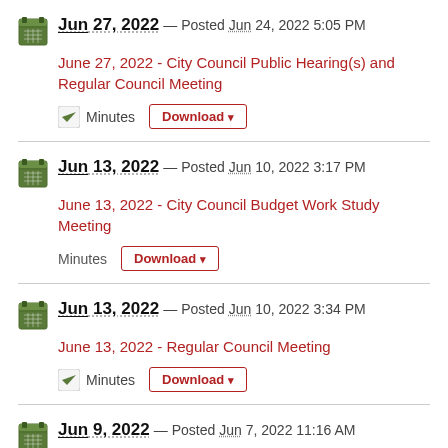Jun 27, 2022 — Posted Jun 24, 2022 5:05 PM
June 27, 2022 - City Council Public Hearing(s) and Regular Council Meeting
Minutes [Download]
Jun 13, 2022 — Posted Jun 10, 2022 3:17 PM
June 13, 2022 - City Council Budget Work Study Meeting
Minutes [Download]
Jun 13, 2022 — Posted Jun 10, 2022 3:34 PM
June 13, 2022 - Regular Council Meeting
Minutes [Download]
Jun 9, 2022 — Posted Jun 7, 2022 11:16 AM
June 9, 2022 - Council Budget Work Study Meeting